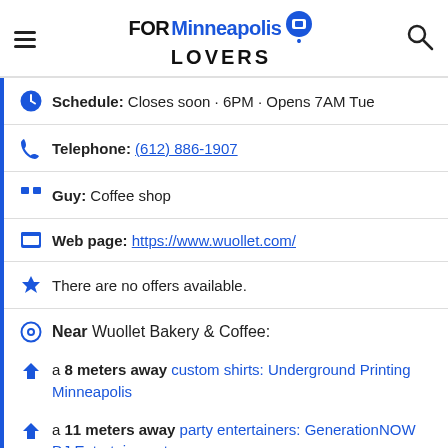FOR Minneapolis LOVERS
Schedule: Closes soon · 6PM · Opens 7AM Tue
Telephone: (612) 886-1907
Guy: Coffee shop
Web page: https://www.wuollet.com/
There are no offers available.
Near Wuollet Bakery & Coffee:
a 8 meters away custom shirts: Underground Printing Minneapolis
a 11 meters away party entertainers: GenerationNOW DJ Entertainment
Are you the owner of the business? PROMOTE IT!